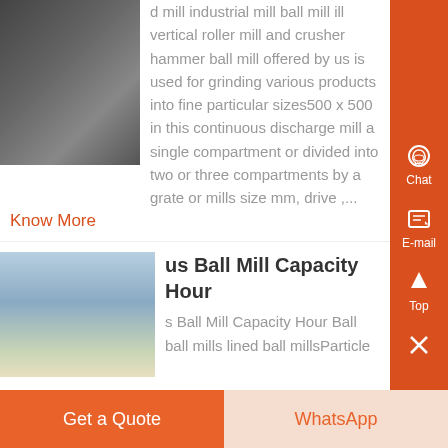[Figure (photo): Photo of people, partially obscured, dark tones]
d mill industrial mill ball mill ill vertical roller mill and crusher hammer ball mill offered by us is used for grinding various products into fine particular sizes500 x 500 in this continuous discharge mill a single compartment or divided into two or three compartments by a grate or mills size mm, drive ,...
Know More
[Figure (photo): Photo of industrial crane or tall machinery against sky]
us Ball Mill Capacity Hour
s Ball Mill Capacity Hour Ball ball mills lined ball millsParticle
Get a Quote
WhatsApp